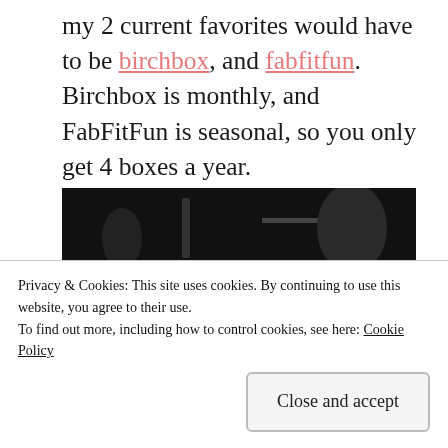my 2 current favorites would have to be birchbox, and fabfitfun. Birchbox is monthly, and FabFitFun is seasonal, so you only get 4 boxes a year.
[Figure (photo): A colorful subscription box photographed from the side, showing a geometric triangular pattern with teal, gold/yellow, white, and green diagonal stripe colors on the box surface.]
Privacy & Cookies: This site uses cookies. By continuing to use this website, you agree to their use.
To find out more, including how to control cookies, see here: Cookie Policy